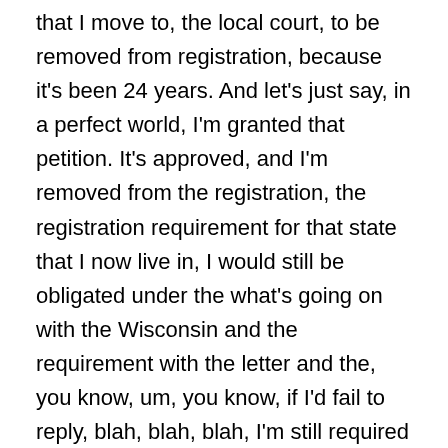that I move to, the local court, to be removed from registration, because it's been 24 years. And let's just say, in a perfect world, I'm granted that petition. It's approved, and I'm removed from the registration, the registration requirement for that state that I now live in, I would still be obligated under the what's going on with the Wisconsin and the requirement with the letter and the, you know, um, you know, if I'd fail to reply, blah, blah, blah, I'm still required to be on registration. So, like, in this and my question, my question actually goes to as far as my passport. I'd received a letter from the Department of State that my passport was cancelled, because I don't have the identifying mark on the passport. So, there's no way for me to get you know, if I was removed from registration in, you know, the state